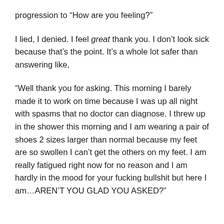progression to “How are you feeling?”
I lied, I denied. I feel great thank you. I don’t look sick because that’s the point. It’s a whole lot safer than answering like,
“Well thank you for asking. This morning I barely made it to work on time because I was up all night with spasms that no doctor can diagnose. I threw up in the shower this morning and I am wearing a pair of shoes 2 sizes larger than normal because my feet are so swollen I can’t get the others on my feet. I am really fatigued right now for no reason and I am hardly in the mood for your fucking bullshit but here I am…AREN’T YOU GLAD YOU ASKED?”